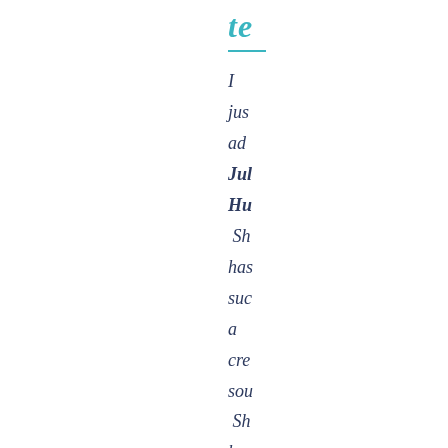te
I just ado Jul Hu Sh has suc a cre sou Sh has int me to the wo of jew ma